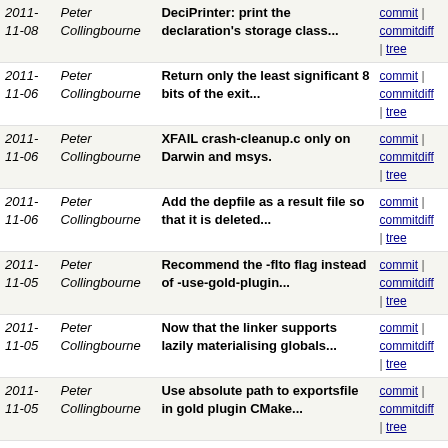| Date | Author | Message | Links |
| --- | --- | --- | --- |
| 2011-11-08 | Peter Collingbourne | DeciPrinter: print the declaration's storage class... | commit | commitdiff | tree |
| 2011-11-06 | Peter Collingbourne | Return only the least significant 8 bits of the exit... | commit | commitdiff | tree |
| 2011-11-06 | Peter Collingbourne | XFAIL crash-cleanup.c only on Darwin and msys. | commit | commitdiff | tree |
| 2011-11-06 | Peter Collingbourne | Add the depfile as a result file so that it is deleted... | commit | commitdiff | tree |
| 2011-11-05 | Peter Collingbourne | Recommend the -flto flag instead of -use-gold-plugin... | commit | commitdiff | tree |
| 2011-11-05 | Peter Collingbourne | Now that the linker supports lazily materialising globals... | commit | commitdiff | tree |
| 2011-11-05 | Peter Collingbourne | Use absolute path to exportsfile in gold plugin CMake... | commit | commitdiff | tree |
| 2011-11-05 | Peter Collingbourne | On Linux, enable the gold plugin if we are using LTO. | commit | commitdiff | tree |
| 2011-11-05 | Peter Collingbourne | Correct the grammar for __builtin_astype. | commit | commitdiff | tree |
| 2011-11-05 | Peter Collingbourne | Update a missed getHostTriple call, fixes non-__APPLE__... | commit | commitdiff | tree |
| 2011-10-31 | Peter Collingbourne | When running tests, prepend our LibDir to the user... | commit | commitdiff | tree |
| 2011-10-30 | Peter Collingbourne | Teach ModuleLinker::getLinkageResult about materialisable... | commit | commitdiff | tree |
| 2011-10-30 | Peter Collingbourne | Add support for lazily linking bitcode files (using... | commit | commitdiff | tree |